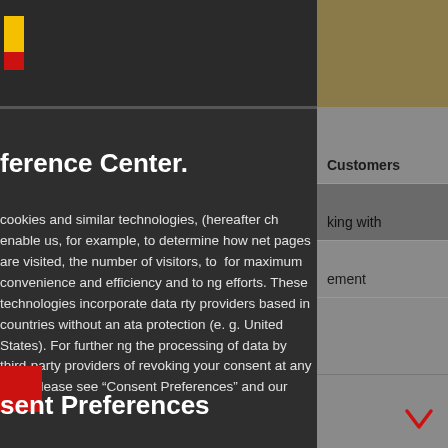Navigation bar with logo and icons (globe, search, menu)
ference Center.
cookies and similar technologies, (hereafter ch enable us, for example, to determine how net pages are visited, the number of visitors, to for maximum convenience and efficiency and to ng efforts. These technologies incorporate data rty providers based in countries without an ata protection (e. g. United States). For further ng the processing of data by third-party providers of revoking your consent at any time, please see “Consent Preferences” and our
sent Preferences
Customers
king with
ement